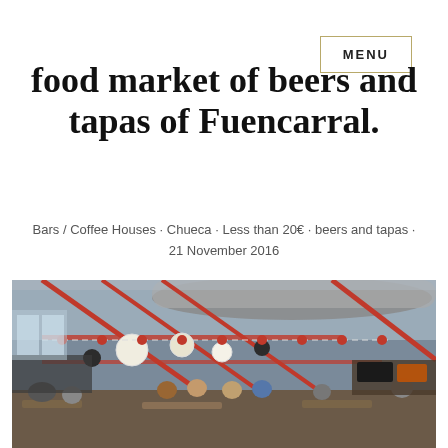MENU
food market of beers and tapas of Fuencarral.
Bars / Coffee Houses · Chueca · Less than 20€ · beers and tapas · 21 November 2016
[Figure (photo): Interior of Mercado de Fuencarral food market: large industrial space with red metal beams, hanging lanterns with red dots, paper globe lights, people seated at wooden tables eating and drinking, food stalls visible in background, large ventilation duct overhead.]